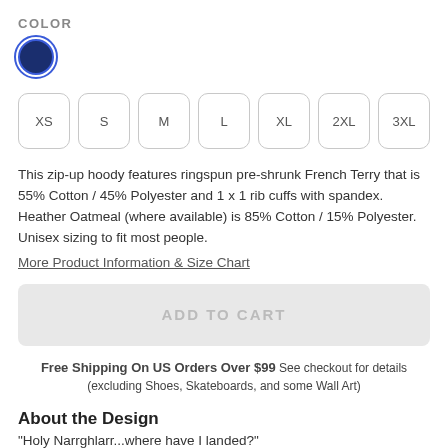COLOR
[Figure (illustration): Dark navy blue filled circle color swatch with blue ring outline border indicating selected color]
[Figure (other): Size selector buttons: XS, S, M, L, XL, 2XL, 3XL — each in a rounded rectangle button]
This zip-up hoody features ringspun pre-shrunk French Terry that is 55% Cotton / 45% Polyester and 1 x 1 rib cuffs with spandex. Heather Oatmeal (where available) is 85% Cotton / 15% Polyester. Unisex sizing to fit most people.
More Product Information & Size Chart
[Figure (other): Greyed out ADD TO CART button]
Free Shipping On US Orders Over $99 See checkout for details (excluding Shoes, Skateboards, and some Wall Art)
About the Design
"Holy Narrghlarr...where have I landed?"